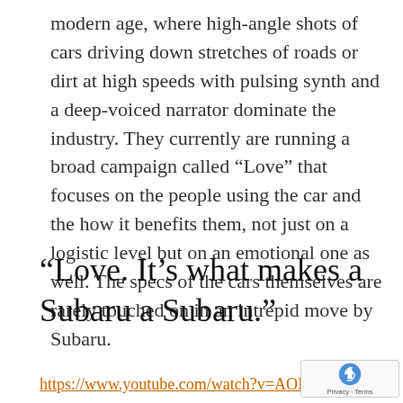modern age, where high-angle shots of cars driving down stretches of roads or dirt at high speeds with pulsing synth and a deep-voiced narrator dominate the industry. They currently are running a broad campaign called “Love” that focuses on the people using the car and the how it benefits them, not just on a logistic level but on an emotional one as well. The specs of the cars themselves are rarely touched on in an intrepid move by Subaru.
“Love. It’s what makes a Subaru a Subaru.”
https://www.youtube.com/watch?v=AOIf9BSL...